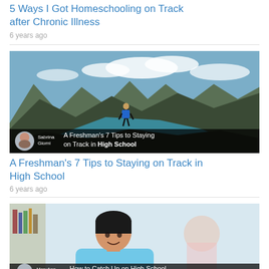5 Ways I Got Homeschooling on Track after Chronic Illness
6 years ago
[Figure (photo): Hiker with blue backpack standing on a mountain overlook with fjord and mountains in the background. Overlay bar at bottom showing author Sabrina Giorni and article title 'A Freshman's 7 Tips to Staying on Track in High School']
A Freshman's 7 Tips to Staying on Track in High School
6 years ago
[Figure (photo): Young Asian female student in light blue polo shirt smiling, with another student blurred in background in a library setting. Overlay bar at bottom showing author MaryAnn and article title 'How to Catch Up on High School']